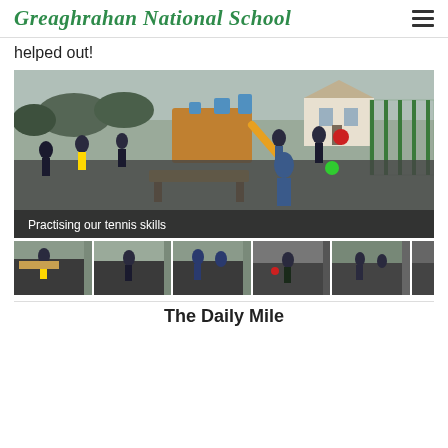Greaghrahan National School
helped out!
[Figure (photo): Children practising tennis skills in a school playground with play equipment and a house in background. Caption: Practising our tennis skills]
[Figure (photo): Row of six thumbnail photos showing children playing tennis and running on a school playground]
The Daily Mile